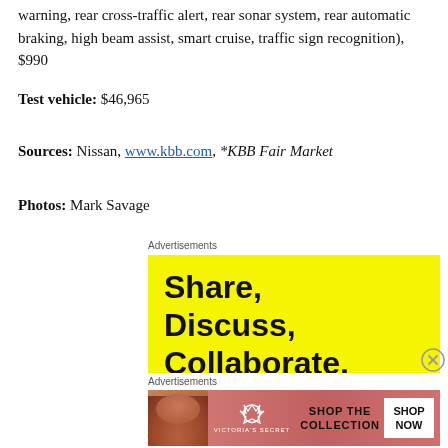warning, rear cross-traffic alert, rear sonar system, rear automatic braking, high beam assist, smart cruise, traffic sign recognition), $990
Test vehicle: $46,965
Sources: Nissan, www.kbb.com, *KBB Fair Market
Photos: Mark Savage
Advertisements
[Figure (other): Yellow advertisement banner with bold black text reading 'Share, Discuss, Collaborate,']
Advertisements
[Figure (other): Victoria's Secret advertisement with pink background, woman photo, VS logo, 'SHOP THE COLLECTION' text and 'SHOP NOW' button]